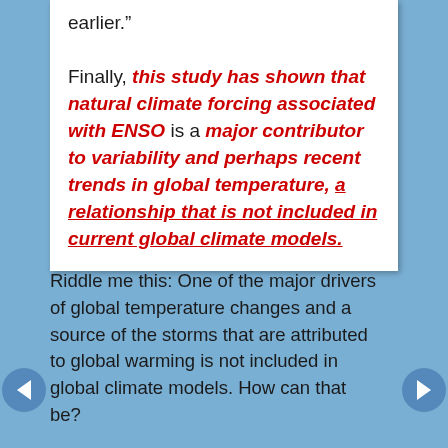earlier.” Finally, this study has shown that natural climate forcing associated with ENSO is a major contributor to variability and perhaps recent trends in global temperature, a relationship that is not included in current global climate models.
Riddle me this: One of the major drivers of global temperature changes and a source of the storms that are attributed to global warming is not included in global climate models. How can that be?
And might this encourage